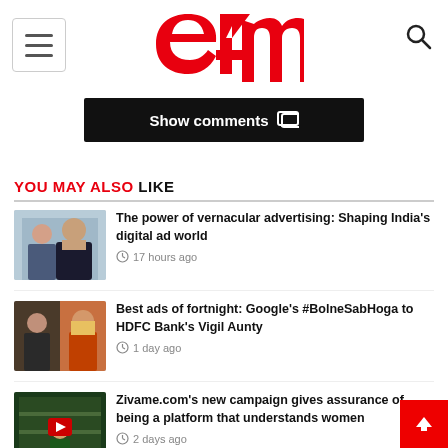[Figure (logo): e4m logo in red with stylized text]
Show comments
YOU MAY ALSO LIKE
[Figure (photo): Man in suit thumbnail for vernacular advertising article]
The power of vernacular advertising: Shaping India's digital ad world
17 hours ago
[Figure (photo): Two women thumbnail for best ads of fortnight article]
Best ads of fortnight: Google's #BolneSabHoga to HDFC Bank's Vigil Aunty
1 day ago
[Figure (photo): Woman in store with play button - Zivame campaign video thumbnail]
Zivame.com's new campaign gives assurance of being a platform that understands women
2 days ago